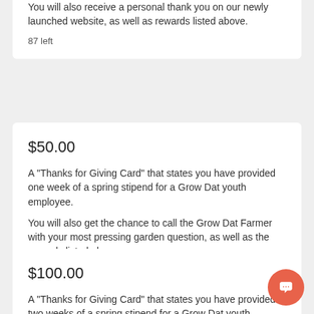You will also receive a personal thank you on our newly launched website, as well as rewards listed above.
87 left
$50.00
A "Thanks for Giving Card" that states you have provided one week of a spring stipend for a Grow Dat youth employee.
You will also get the chance to call the Grow Dat Farmer with your most pressing garden question, as well as the rewards listed above.
88 left
$100.00
A "Thanks for Giving Card" that states you have provided two weeks of a spring stipend for a Grow Dat youth employee.
You will also receive a Grow Dat Youth Farm t-shirt, as well as the